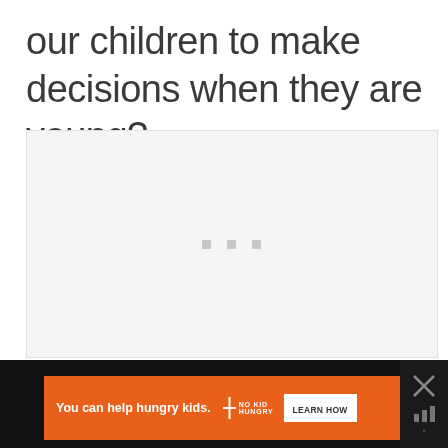our children to make decisions when they are young?
[Figure (other): Loading placeholder box with three grey dots in the center indicating content is loading]
[Figure (other): Advertisement banner: orange background with white text 'You can help hungry kids.' No Kid Hungry logo and 'LEARN HOW' button. Black side panel with X close button and social sharing icons.]